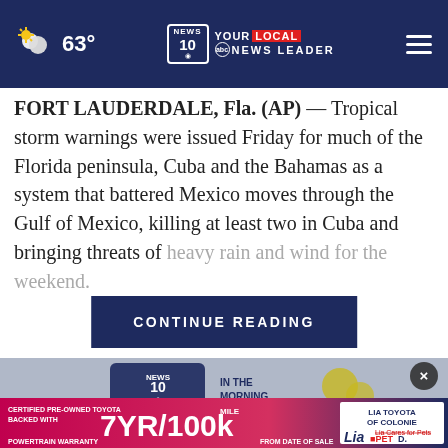63° NEWS 10 YOUR LOCAL NEWS LEADER
FORT LAUDERDALE, Fla. (AP) — Tropical storm warnings were issued Friday for much of the Florida peninsula, Cuba and the Bahamas as a system that battered Mexico moves through the Gulf of Mexico, killing at least two in Cuba and bringing threats of heavy rain and wind for the weekend.
CONTINUE READING
The National [Hurricane Center] said the storm
[Figure (screenshot): News 10 In The Morning video thumbnail with close button]
[Figure (screenshot): Toyota advertisement: Certified Pre-Owned Toyota backed with 7YR/100k mile powertrain warranty from date of sale. Lia Toyota of Colonie. Lia Cares for Pets. Lia. PetD.]